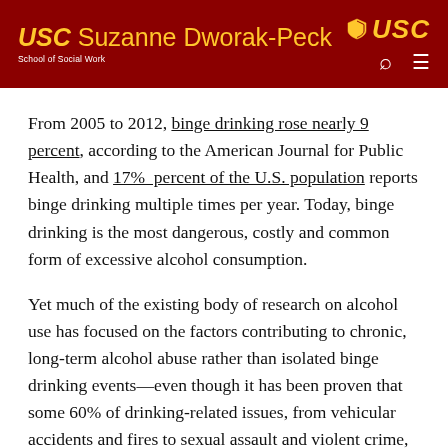USC Suzanne Dworak-Peck School of Social Work
From 2005 to 2012, binge drinking rose nearly 9 percent, according to the American Journal for Public Health, and 17% percent of the U.S. population reports binge drinking multiple times per year. Today, binge drinking is the most dangerous, costly and common form of excessive alcohol consumption.
Yet much of the existing body of research on alcohol use has focused on the factors contributing to chronic, long-term alcohol abuse rather than isolated binge drinking events—even though it has been proven that some 60% of drinking-related issues, from vehicular accidents and fires to sexual assault and violent crime, occur at the